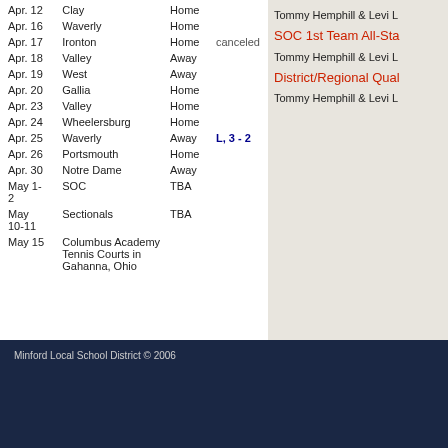| Date | Opponent | Location | Result |
| --- | --- | --- | --- |
| Apr. 12 | Clay | Home |  |
| Apr. 16 | Waverly | Home |  |
| Apr. 17 | Ironton | Home | canceled |
| Apr. 18 | Valley | Away |  |
| Apr. 19 | West | Away |  |
| Apr. 20 | Gallia | Home |  |
| Apr. 23 | Valley | Home |  |
| Apr. 24 | Wheelersburg | Home |  |
| Apr. 25 | Waverly | Away | L, 3 - 2 |
| Apr. 26 | Portsmouth | Home |  |
| Apr. 30 | Notre Dame | Away |  |
| May 1-2 | SOC | TBA |  |
| May 10-11 | Sectionals | TBA |  |
| May 15 | Columbus Academy Tennis Courts in Gahanna, Ohio |  |  |
Tommy Hemphill & Levi L
SOC 1st Team All-Sta
Tommy Hemphill & Levi L
District/Regional Qual
Tommy Hemphill & Levi L
Minford Local School District © 2006